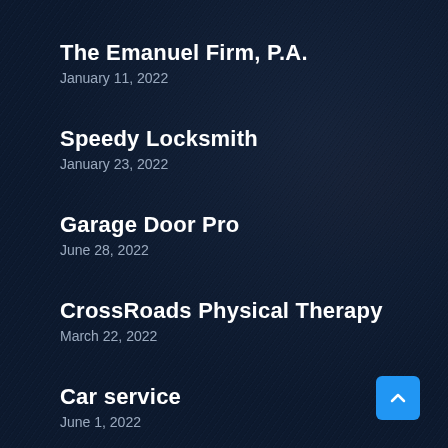The Emanuel Firm, P.A.
January 11, 2022
Speedy Locksmith
January 23, 2022
Garage Door Pro
June 28, 2022
CrossRoads Physical Therapy
March 22, 2022
Car service
June 1, 2022